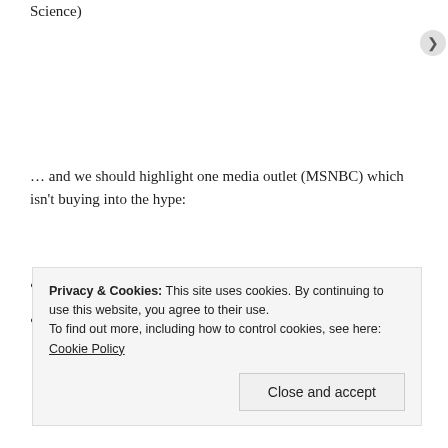Science)
… and we should highlight one media outlet (MSNBC) which isn't buying into the hype:
New find revives 'Jesus Tomb' flap (MSNBC)
Doubts about 'the Jesus Discovery' (MSNBC)
Privacy & Cookies: This site uses cookies. By continuing to use this website, you agree to their use. To find out more, including how to control cookies, see here: Cookie Policy
Close and accept